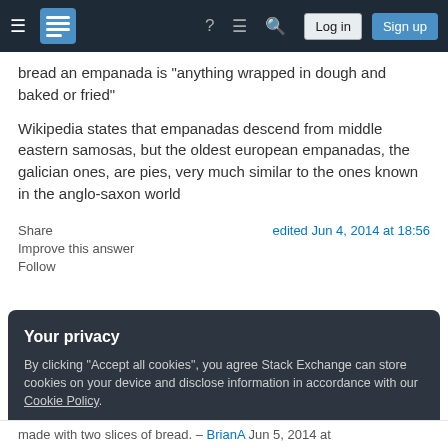Stack Exchange navigation bar with hamburger menu, logo, help, chat, search icons, Log in and Sign up buttons
bread  an empanada is  anything wrapped in dough and baked or fried"
Wikipedia states that empanadas descend from middle eastern samosas, but the oldest european empanadas, the galician ones, are pies, very much similar to the ones known in the anglo-saxon world
Share
Improve this answer
Follow
edited Jun 4, 2014 at 18:56
Your privacy
By clicking "Accept all cookies", you agree Stack Exchange can store cookies on your device and disclose information in accordance with our Cookie Policy.
Accept all cookies
Customize settings
made with two slices of bread. – BrianA Jun 5, 2014 at